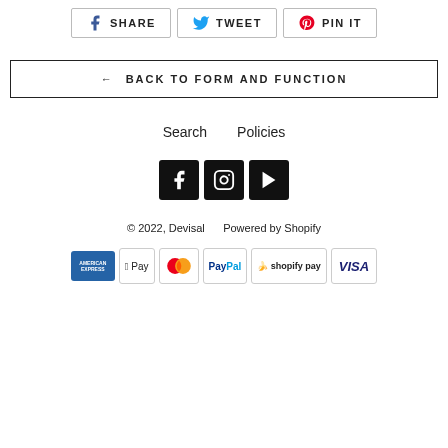[Figure (other): Share buttons row: Facebook Share, Twitter Tweet, Pinterest Pin It]
← BACK TO FORM AND FUNCTION
Search    Policies
[Figure (other): Social media icons: Facebook, Instagram, YouTube]
© 2022, Devisal    Powered by Shopify
[Figure (other): Payment icons: American Express, Apple Pay, Mastercard, PayPal, Shopify Pay, Visa]